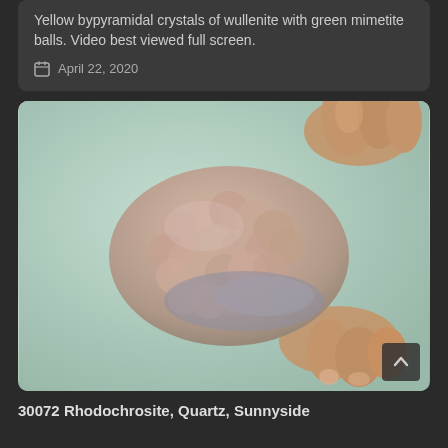Yellow bypyramidal crystals of wullenite with green mimetite balls. Video best viewed full screen.
April 22, 2020
[Figure (photo): A hand holding a pinkish-tan botryoidal rhodochrosite mineral specimen with lumpy rounded surface texture, photographed against a pale green background.]
30072 Rhodochrosite, Quartz, Sunnyside